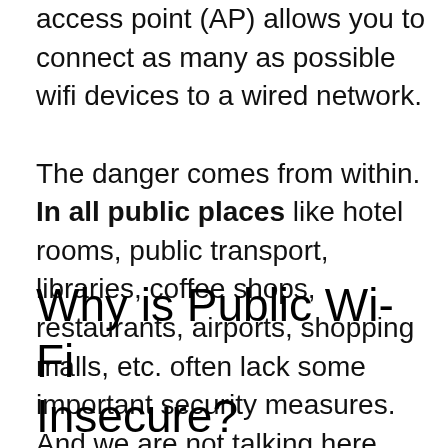access point (AP) allows you to connect as many as possible wifi devices to a wired network.

The danger comes from within. In all public places like hotel rooms, public transport, libraries, coffee shops, restaurants, airports, shopping malls, etc. often lack some important security measures. And we are not talking here only about passwords.
Why is Public Wi-Fi Insecure?